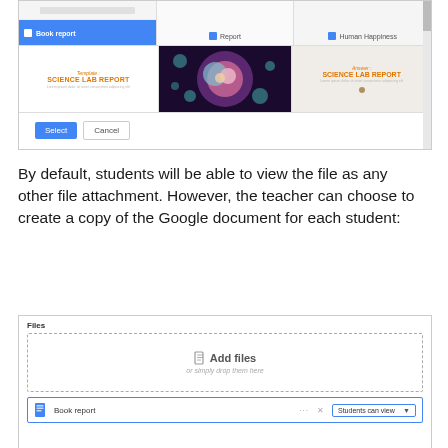[Figure (screenshot): Google Slides template picker showing Book report (selected in blue), Report, Human Happiness, Science Lab Report template, colorful cell image, and Answer: Science Lab Report. Select and Cancel buttons at bottom.]
By default, students will be able to view the file as any other file attachment. However, the teacher can choose to create a copy of the Google document for each student:
[Figure (screenshot): Google Classroom Files panel showing a dashed 'Add files / or simply drop them here' upload box, and below it a Book report file row with a blue document icon, ellipsis, X, and a 'Students can view' dropdown.]